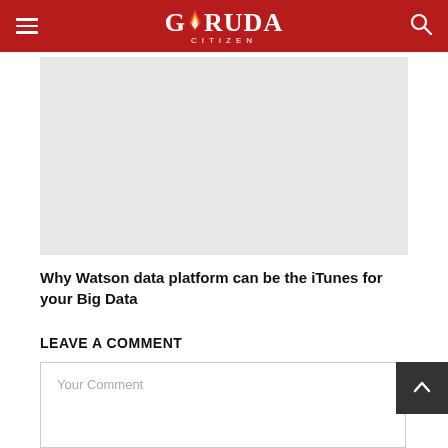GARUDA CITIZEN
[Figure (other): Advertisement placeholder block, light grey background]
Why Watson data platform can be the iTunes for your Big Data
LEAVE A COMMENT
Your Comment